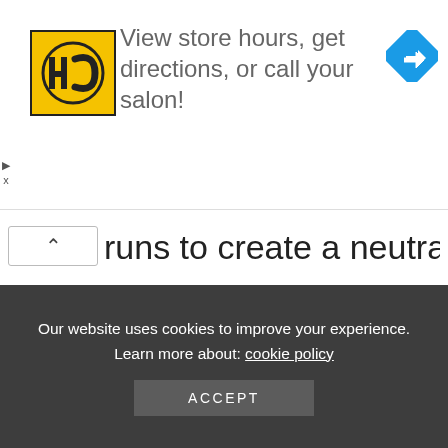[Figure (logo): HC hair salon logo - yellow square with HC monogram in black circle, and blue map/directions diamond icon. Ad banner: View store hours, get directions, or call your salon!]
runs to create a neutral decoration yet a functional element in any room.
[Figure (other): Gray content placeholder area]
Our website uses cookies to improve your experience. Learn more about: cookie policy
ACCEPT